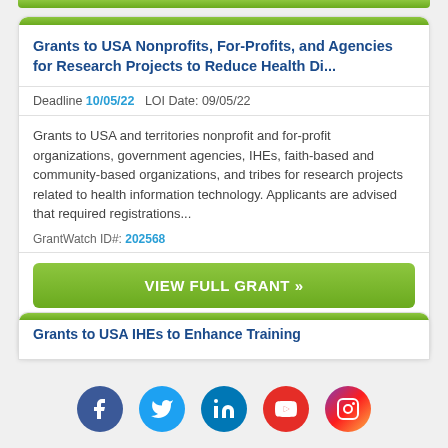Grants to USA Nonprofits, For-Profits, and Agencies for Research Projects to Reduce Health Di...
Deadline 10/05/22   LOI Date: 09/05/22
Grants to USA and territories nonprofit and for-profit organizations, government agencies, IHEs, faith-based and community-based organizations, and tribes for research projects related to health information technology. Applicants are advised that required registrations...
GrantWatch ID#: 202568
VIEW FULL GRANT »
Grants to USA IHEs to Enhance Training
[Figure (infographic): Social media icons row: Facebook (blue circle), Twitter (light blue circle), LinkedIn (teal circle), YouTube (red circle), Instagram (gradient circle)]